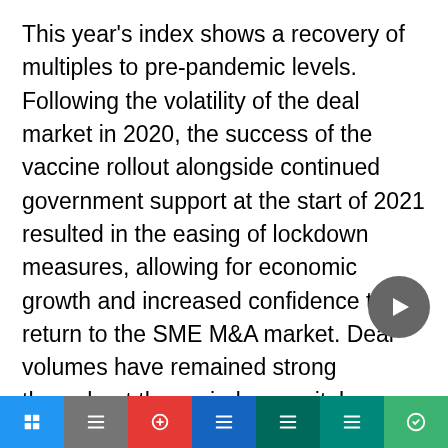This year's index shows a recovery of multiples to pre-pandemic levels. Following the volatility of the deal market in 2020, the success of the vaccine rollout alongside continued government support at the start of 2021 resulted in the easing of lockdown measures, allowing for economic growth and increased confidence to return to the SME M&A market. Deal volumes have remained strong throughout the period as capital continued to be available from corporates, Private Equity and banks with interest rates remaining low. A positive pandemic outcome for the deal market was the success of technology in supporting the demands of working remotely which has given some
navigation bar with social/share icons